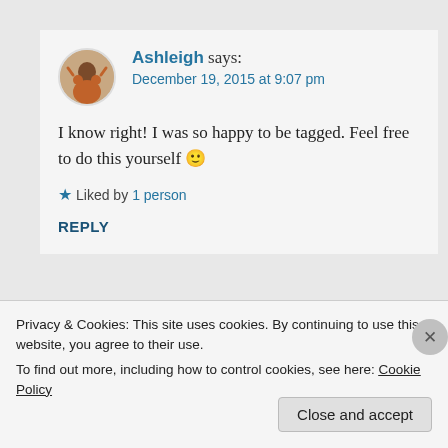Ashleigh says: December 19, 2015 at 9:07 pm
I know right! I was so happy to be tagged. Feel free to do this yourself 🙂
★ Liked by 1 person
REPLY
Privacy & Cookies: This site uses cookies. By continuing to use this website, you agree to their use.
To find out more, including how to control cookies, see here: Cookie Policy
Close and accept